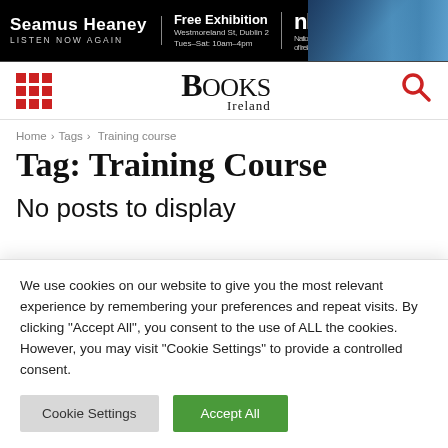[Figure (screenshot): Seamus Heaney Listen Now Again free exhibition banner with NLI logo and background photo]
[Figure (logo): Books Ireland logo with grid icon and search icon in navigation bar]
Home › Tags › Training course
Tag: Training Course
No posts to display
We use cookies on our website to give you the most relevant experience by remembering your preferences and repeat visits. By clicking "Accept All", you consent to the use of ALL the cookies. However, you may visit "Cookie Settings" to provide a controlled consent.